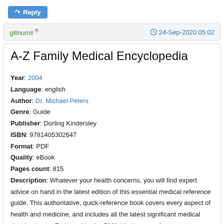[Figure (other): Reply button with arrow icon, blue background]
gillnumil ®   24-Sep-2020 05:02
A-Z Family Medical Encyclopedia
Year: 2004
Language: english
Author: Dr. Michael Peters
Genre: Guide
Publisher: Dorling Kindersley
ISBN: 9781405302647
Format: PDF
Quality: eBook
Pages count: 815
Description: Whatever your health concerns, you will find expert advice on hand in the latest edition of this essential medical reference guide. This authoritative, quick-reference book covers every aspect of health and medicine, and includes all the latest significant medical developments. Endorsed by the BMA this is a must for every household.